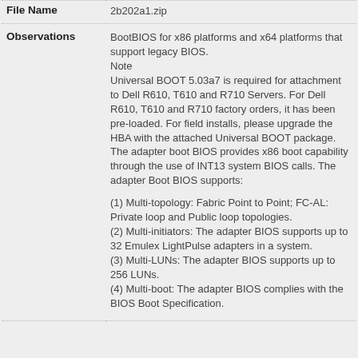| File Name | Observations |
| --- | --- |
| File Name | 2b202a1.zip |
| Observations | BootBIOS for x86 platforms and x64 platforms that support legacy BIOS. Note Universal BOOT 5.03a7 is required for attachment to Dell R610, T610 and R710 Servers. For Dell R610, T610 and R710 factory orders, it has been pre-loaded. For field installs, please upgrade the HBA with the attached Universal BOOT package. The adapter boot BIOS provides x86 boot capability through the use of INT13 system BIOS calls. The adapter Boot BIOS supports: (1) Multi-topology: Fabric Point to Point; FC-AL: Private loop and Public loop topologies. (2) Multi-initiators: The adapter BIOS supports up to 32 Emulex LightPulse adapters in a system. (3) Multi-LUNs: The adapter BIOS supports up to 256 LUNs. (4) Multi-boot: The adapter BIOS complies with the BIOS Boot Specification. |